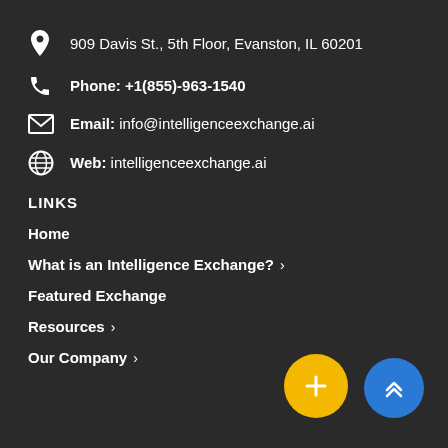909 Davis St., 5th Floor, Evanston, IL 60201
Phone: +1(855)-963-1540
Email: info@intelligenceexchange.ai
Web: intelligenceexchange.ai
LINKS
Home
What is an Intelligence Exchange? >
Featured Exchange
Resources >
Our Company >